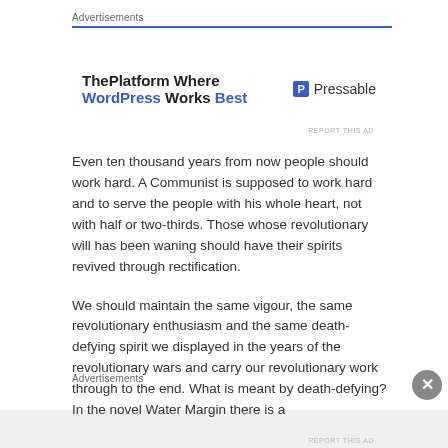Advertisements
[Figure (screenshot): Pressable advertisement banner: 'ThePlatform Where WordPress Works Best' with Pressable logo]
Even ten thousand years from now people should work hard. A Communist is supposed to work hard and to serve the people with his whole heart, not with half or two-thirds. Those whose revolutionary will has been waning should have their spirits revived through rectification.
We should maintain the same vigour, the same revolutionary enthusiasm and the same death-defying spirit we displayed in the years of the revolutionary wars and carry our revolutionary work through to the end. What is meant by death-defying? In the novel Water Margin there is a
Advertisements